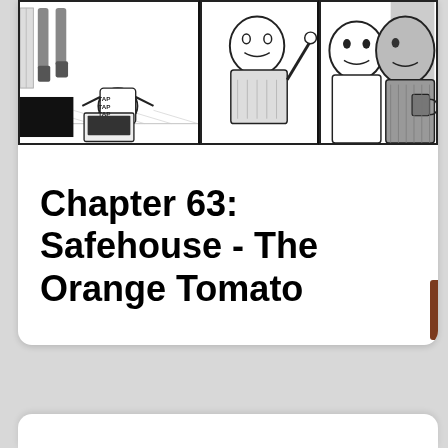[Figure (illustration): Black and white comic strip panels. Left panel shows a figure sitting on the floor with a laptop, text 'TAP TAP TAP' visible. Middle and right panels show close-up figures in animated conversation or action.]
Chapter 63: Safehouse - The Orange Tomato